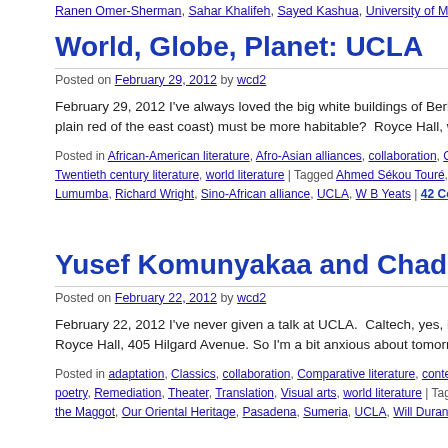Ranen Omer-Sherman, Sahar Khalifeh, Sayed Kashua, University of Miami, Yay...
World, Globe, Planet: UCLA
Posted on February 29, 2012 by wcd2
February 29, 2012 I've always loved the big white buildings of Berkel... plain red of the east coast) must be more habitable?  Royce Hall, with...
Posted in African-American literature, Afro-Asian alliances, collaboration, Compa... Twentieth century literature, world literature | Tagged Ahmed Sékou Touré, Band... Lumumba, Richard Wright, Sino-African alliance, UCLA, W B Yeats | 42 Comme...
Yusef Komunyakaa and Chad Gracia, Gilga...
Posted on February 22, 2012 by wcd2
February 22, 2012 I've never given a talk at UCLA.  Caltech, yes, in n... Royce Hall, 405 Hilgard Avenue. So I'm a bit anxious about tomorrow...
Posted in adaptation, Classics, collaboration, Comparative literature, contempora... poetry, Remediation, Theater, Translation, Visual arts, world literature | Tagged C... the Maggot, Our Oriental Heritage, Pasadena, Sumeria, UCLA, Will Durant, Yus...